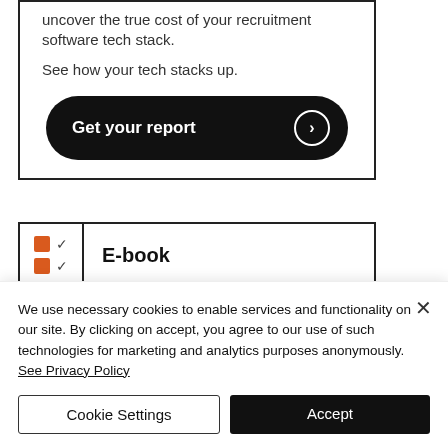uncover the true cost of your recruitment software tech stack.
See how your tech stacks up.
[Figure (other): Black pill-shaped button with text 'Get your report' and a right arrow circle icon]
[Figure (other): E-book icon: two orange squares each with a checkmark, bordered box with label 'E-book']
Power up Client Experience
We use necessary cookies to enable services and functionality on our site. By clicking on accept, you agree to our use of such technologies for marketing and analytics purposes anonymously. See Privacy Policy
Cookie Settings
Accept